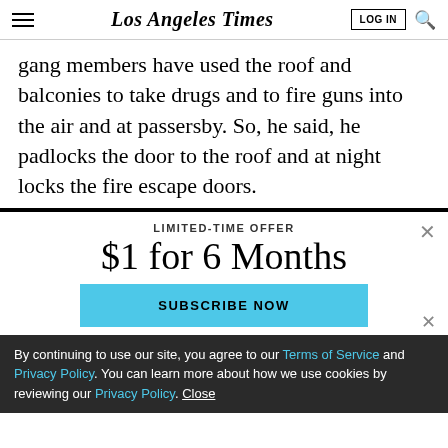Los Angeles Times
gang members have used the roof and balconies to take drugs and to fire guns into the air and at passersby. So, he said, he padlocks the door to the roof and at night locks the fire escape doors.
LIMITED-TIME OFFER
$1 for 6 Months
SUBSCRIBE NOW
By continuing to use our site, you agree to our Terms of Service and Privacy Policy. You can learn more about how we use cookies by reviewing our Privacy Policy. Close